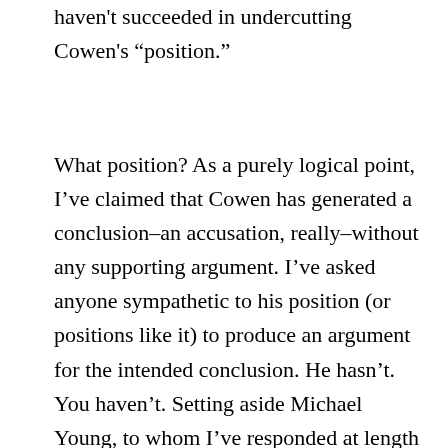haven't succeeded in undercutting Cowen's “position.”
What position? As a purely logical point, I’ve claimed that Cowen has generated a conclusion–an accusation, really–without any supporting argument. I’ve asked anyone sympathetic to his position (or positions like it) to produce an argument for the intended conclusion. He hasn’t. You haven’t. Setting aside Michael Young, to whom I’ve responded at length nearby, no one has made any